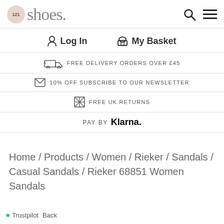121 shoes
Log In   My Basket
FREE DELIVERY ORDERS OVER £45
10% OFF SUBSCRIBE TO OUR NEWSLETTER
FREE UK RETURNS
PAY BY Klarna.
Home / Products / Women / Rieker / Sandals / Casual Sandals / Rieker 68851 Women Sandals
Trustpilot  Back